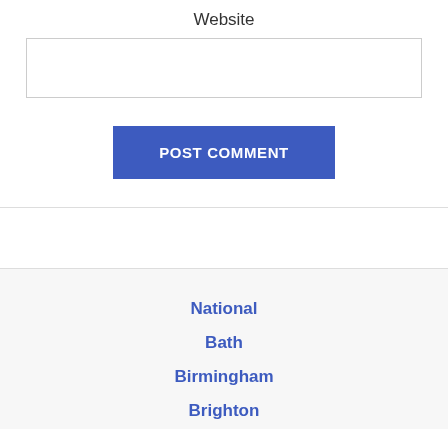Website
[Figure (screenshot): An empty text input field (form element) for entering a website URL]
POST COMMENT
National
Bath
Birmingham
Brighton